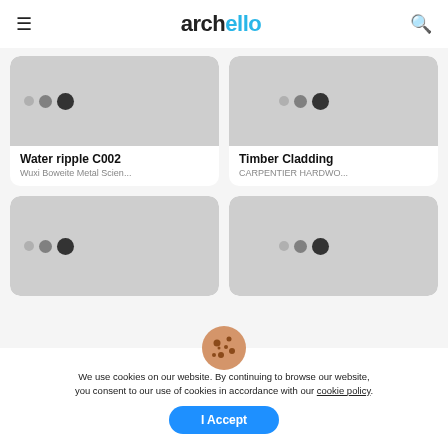archello
[Figure (screenshot): Product card image placeholder (grey rectangle) for Water ripple C002 with three dots overlay]
Water ripple C002
Wuxi Boweite Metal Scien...
[Figure (screenshot): Product card image placeholder (grey rectangle) for Timber Cladding with three dots overlay]
Timber Cladding
CARPENTIER HARDWO...
[Figure (screenshot): Product card image placeholder (grey rectangle) bottom-left with three dots overlay]
[Figure (screenshot): Product card image placeholder (grey rectangle) bottom-right with three dots overlay]
We use cookies on our website. By continuing to browse our website, you consent to our use of cookies in accordance with our cookie policy.
I Accept